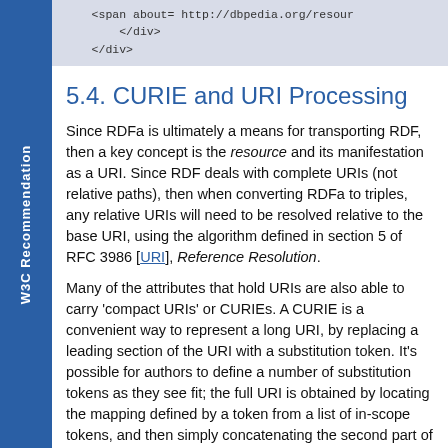[Figure (screenshot): Code block showing closing HTML tags: </div> and </div> with a span about= attribute partially visible at top]
5.4. CURIE and URI Processing
Since RDFa is ultimately a means for transporting RDF, then a key concept is the resource and its manifestation as a URI. Since RDF deals with complete URIs (not relative paths), then when converting RDFa to triples, any relative URIs will need to be resolved relative to the base URI, using the algorithm defined in section 5 of RFC 3986 [URI], Reference Resolution.
Many of the attributes that hold URIs are also able to carry 'compact URIs' or CURIEs. A CURIE is a convenient way to represent a long URI, by replacing a leading section of the URI with a substitution token. It's possible for authors to define a number of substitution tokens as they see fit; the full URI is obtained by locating the mapping defined by a token from a list of in-scope tokens, and then simply concatenating the second part of
W3C Recommendation